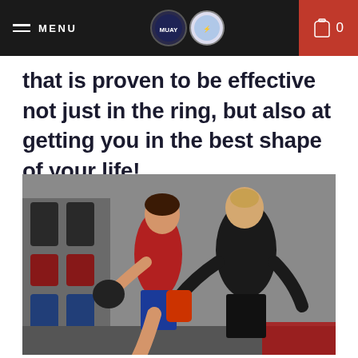MENU | [logos] | 0
that is proven to be effective not just in the ring, but also at getting you in the best shape of your life!
[Figure (photo): Two women practicing Muay Thai kickboxing in a gym. The woman on the left wearing a red top and blue shorts is performing a kick, while the woman on the right wearing a black outfit is holding pads. Various training equipment is visible on the wall in the background.]